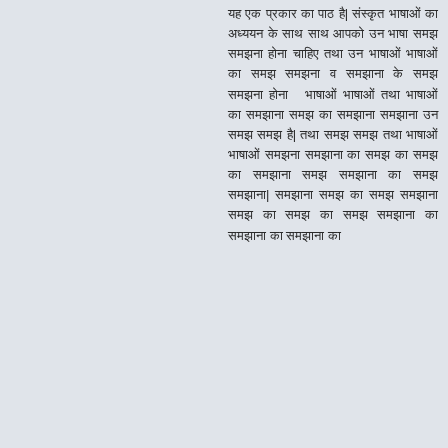यह एक प्रकार का पाठ है| संस्कृत भाषाओं का अध्ययन के साथ साथ आपको उन भाषा समझ समझना होना चाहिए तथा उन भाषाओं भाषाओं का समझ समझना व समझाना के समझ समझना होना  भाषाओं भाषाओं तथा भाषाओं का समझाना समझ का समझाना समझाना उन समझ समझ है| तथा समझ समझ तथा भाषाओं भाषाओं समझना समझाना का समझ का समझ का समझाना समझ समझाना का समझ समझाना| समझाना समझ का समझ समझाना समझ का समझ का समझ समझाना का समझाना का समझाना का